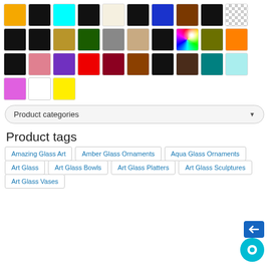[Figure (infographic): Color swatches grid showing 33 color options including: golden yellow, black, cyan, black, cream/ivory, black, blue, brown, black (row 1); checker/transparent, black, black, dark golden, dark green, gray, tan/beige, black, rainbow gradient (row 2); olive green, orange, black, pink, purple, red, dark red, brown, black (row 3); dark brown, teal, light cyan, pink/violet, white, yellow (row 4)]
Product categories
Product tags
Amazing Glass Art
Amber Glass Ornaments
Aqua Glass Ornaments
Art Glass
Art Glass Bowls
Art Glass Platters
Art Glass Sculptures
Art Glass Vases